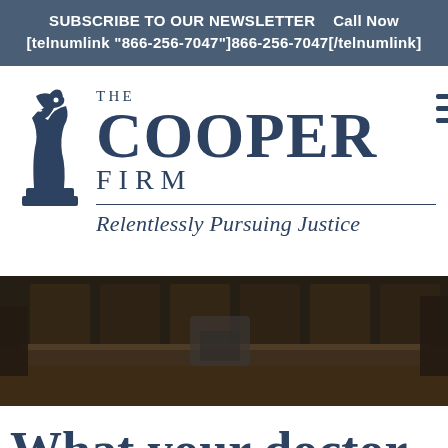SUBSCRIBE TO OUR NEWSLETTER   Call Now [telnumlink "866-256-7047"]866-256-7047[/telnumlink]
[Figure (logo): The Cooper Firm logo with chess knight piece and tagline 'Relentlessly Pursuing Justice']
[Figure (photo): Courtroom interior with dark wood paneling and chairs, dimly lit]
What your doctor